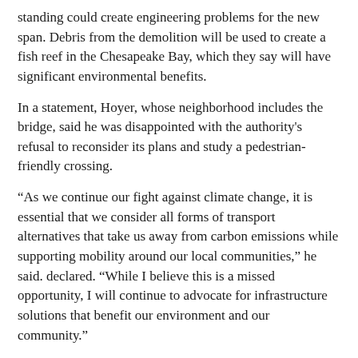standing could create engineering problems for the new span. Debris from the demolition will be used to create a fish reef in the Chesapeake Bay, which they say will have significant environmental benefits.
In a statement, Hoyer, whose neighborhood includes the bridge, said he was disappointed with the authority's refusal to reconsider its plans and study a pedestrian-friendly crossing.
“As we continue our fight against climate change, it is essential that we consider all forms of transport alternatives that take us away from carbon emissions while supporting mobility around our local communities,” he said. declared. “While I believe this is a missed opportunity, I will continue to advocate for infrastructure solutions that benefit our environment and our community.”
When Hogan put forward a plan to replace the bridge in 2016, his office said in a statement that the new crossing would include a separate path for bicycles and pedestrians. But the transportation authority scrapped that idea as a cost-saving measure in 2019, freeing up money to invest in a stretch of Interstate 95.
Appalled by this decision, a group of defenders began to explore the possibility of keeping the current bridge as an alternative. It was old, but they felt it could be strong enough to be used by